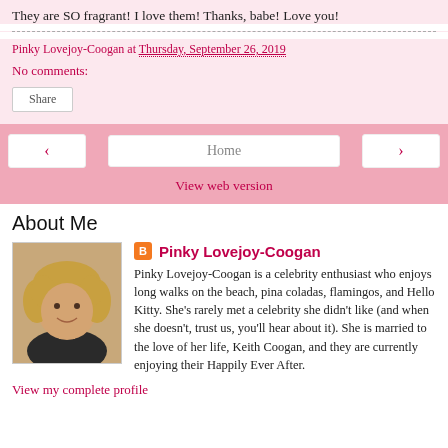They are SO fragrant! I love them! Thanks, babe! Love you!
Pinky Lovejoy-Coogan at Thursday, September 26, 2019
No comments:
Share
Home
View web version
About Me
[Figure (photo): Profile photo of Pinky Lovejoy-Coogan, a woman with curly blonde hair smiling]
Pinky Lovejoy-Coogan
Pinky Lovejoy-Coogan is a celebrity enthusiast who enjoys long walks on the beach, pina coladas, flamingos, and Hello Kitty. She's rarely met a celebrity she didn't like (and when she doesn't, trust us, you'll hear about it). She is married to the love of her life, Keith Coogan, and they are currently enjoying their Happily Ever After.
View my complete profile